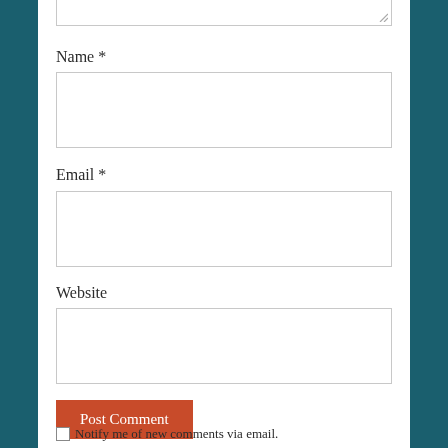[Figure (screenshot): Partial textarea input box at the top of the page, showing only the bottom portion with a resize handle]
Name *
[Figure (screenshot): Name input field (empty text box)]
Email *
[Figure (screenshot): Email input field (empty text box)]
Website
[Figure (screenshot): Website input field (empty text box)]
[Figure (screenshot): Post Comment button (orange/red)]
Notify me of new comments via email.